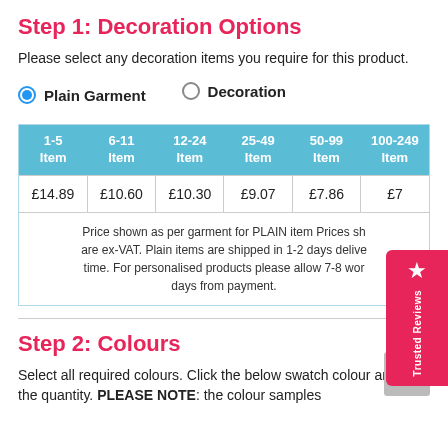Step 1: Decoration Options
Please select any decoration items you require for this product.
Plain Garment (selected radio)
Decoration (unselected radio)
| 1-5 Item | 6-11 Item | 12-24 Item | 25-49 Item | 50-99 Item | 100-249 Item |
| --- | --- | --- | --- | --- | --- |
| £14.89 | £10.60 | £10.30 | £9.07 | £7.86 | £7... |
| Price shown as per garment for PLAIN item Prices shown are ex-VAT. Plain items are shipped in 1-2 days delivery time. For personalised products please allow 7-8 working days from payment. |
Step 2: Colours
Select all required colours. Click the below swatch colour and add the quantity. PLEASE NOTE: the colour samples